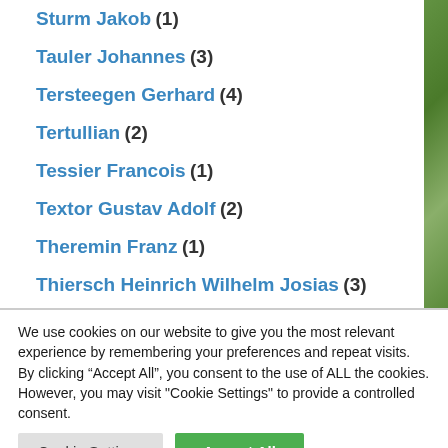Sturm Jakob (1)
Tauler Johannes (3)
Tersteegen Gerhard (4)
Tertullian (2)
Tessier Francois (1)
Textor Gustav Adolf (2)
Theremin Franz (1)
Thiersch Heinrich Wilhelm Josias (3)
Tholuck August (5)
We use cookies on our website to give you the most relevant experience by remembering your preferences and repeat visits. By clicking “Accept All”, you consent to the use of ALL the cookies. However, you may visit “Cookie Settings” to provide a controlled consent.